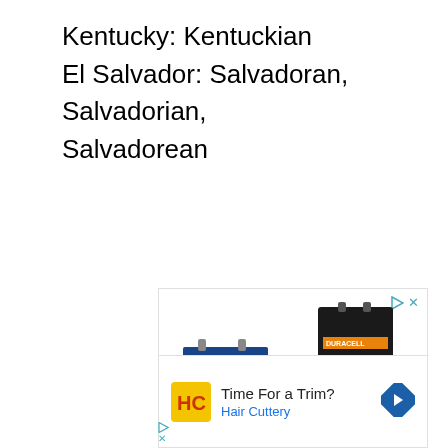Kentucky: Kentuckian
El Salvador: Salvadoran, Salvadorian, Salvadorean
[Figure (photo): Advertisement for Batteries Plus showing various Duracell batteries, car batteries, light bulbs and other products arranged together, with Batteries Plus logo and name below.]
[Figure (photo): Advertisement for Hair Cuttery showing HC logo, 'Time For a Trim?' heading, 'Hair Cuttery' subtext in blue, and a blue navigation arrow icon on the right.]